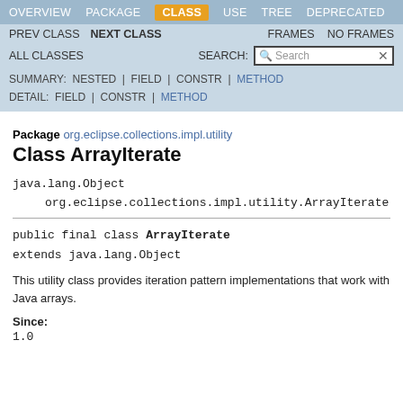OVERVIEW  PACKAGE  CLASS  USE  TREE  DEPRECATED
PREV CLASS  NEXT CLASS  FRAMES  NO FRAMES
ALL CLASSES  SEARCH:  SUMMARY: NESTED | FIELD | CONSTR | METHOD  DETAIL: FIELD | CONSTR | METHOD
Package org.eclipse.collections.impl.utility
Class ArrayIterate
java.lang.Object
    org.eclipse.collections.impl.utility.ArrayIterate
public final class ArrayIterate
extends java.lang.Object
This utility class provides iteration pattern implementations that work with Java arrays.
Since:
1.0